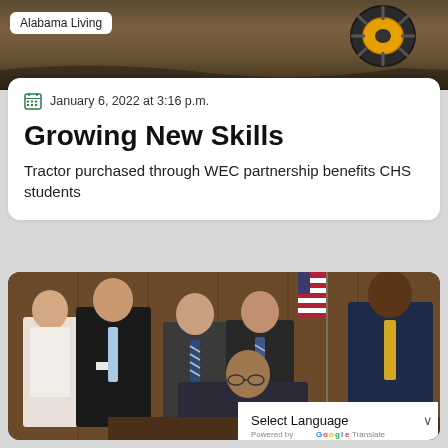[Figure (photo): Top strip photo of farm tractor wheel/tire on soil with dark earthy background]
Alabama Living
January 6, 2022 at 3:16 p.m.
Growing New Skills
Tractor purchased through WEC partnership benefits CHS students
[Figure (photo): Group photo of several men in business suits standing indoors, one person seated at desk, appears to be a formal signing or meeting ceremony]
Select Language